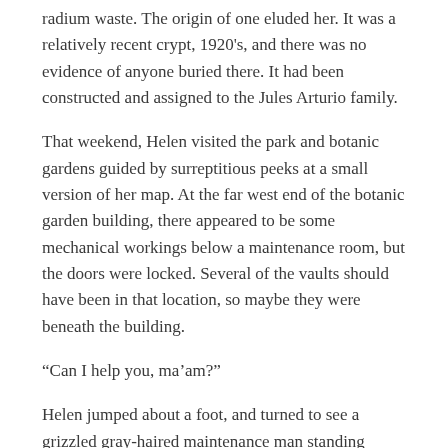radium waste. The origin of one eluded her. It was a relatively recent crypt, 1920's, and there was no evidence of anyone buried there. It had been constructed and assigned to the Jules Arturio family.
That weekend, Helen visited the park and botanic gardens guided by surreptitious peeks at a small version of her map. At the far west end of the botanic garden building, there appeared to be some mechanical workings below a maintenance room, but the doors were locked. Several of the vaults should have been in that location, so maybe they were beneath the building.
“Can I help you, ma’am?”
Helen jumped about a foot, and turned to see a grizzled gray-haired maintenance man standing behind her.